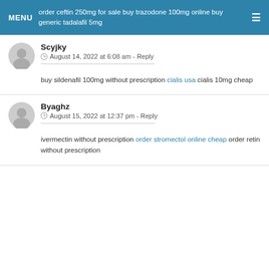MENU  order ceftin 250mg for sale buy trazodone 100mg online buy generic tadalafil 5mg  ☰
Scyjky
⏱ August 14, 2022 at 6:08 am - Reply
buy sildenafil 100mg without prescription cialis usa cialis 10mg cheap
Byaghz
⏱ August 15, 2022 at 12:37 pm - Reply
ivermectin without prescription order stromectol online cheap order retin without prescription